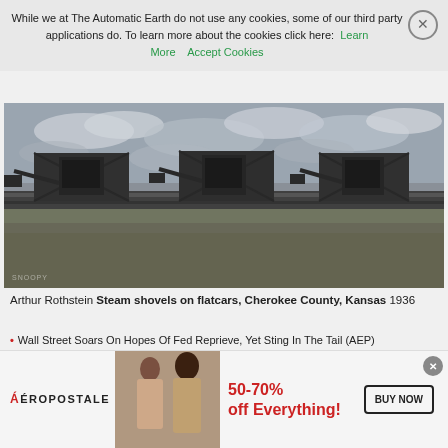While we at The Automatic Earth do not use any cookies, some of our third party applications do. To learn more about the cookies click here: Learn More   Accept Cookies
[Figure (photo): Black and white photograph of steam shovels on flatcars in a field, Cherokee County, Kansas, 1936. Three large industrial steam shovels with X-shaped frames are mounted on railroad flatcars against a cloudy sky, with a flat grassy field in the foreground.]
Arthur Rothstein Steam shovels on flatcars, Cherokee County, Kansas 1936
Wall Street Soars On Hopes Of Fed Reprieve, Yet Sting In The Tail (AEP)
[Figure (photo): Aeropostale advertisement banner showing two female models, logo text 'AÉROPOSTALE', promotional text '50-70% off Everything!' in red, and a 'BUY NOW' button.]